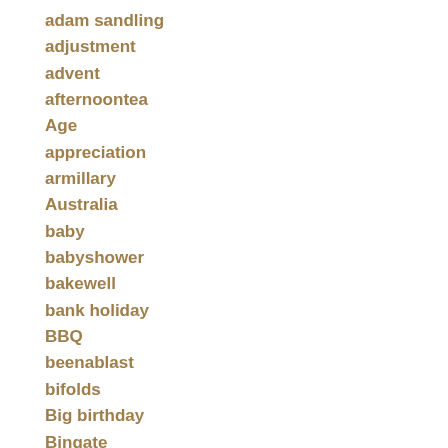adam sandling
adjustment
advent
afternoontea
Age
appreciation
armillary
Australia
baby
babyshower
bakewell
bank holiday
BBQ
beenablast
bifolds
Big birthday
Bingate